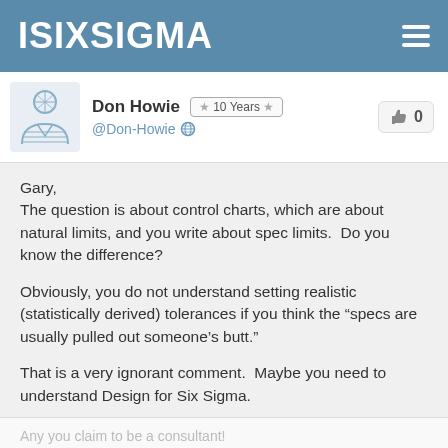ISIXSIGMA
Don Howie  ★ 10 Years ★  @Don-Howie  0
Gary,
The question is about control charts, which are about natural limits, and you write about spec limits.  Do you know the difference?

Obviously, you do not understand setting realistic (statistically derived) tolerances if you think the “specs are usually pulled out someone’s butt.”

That is a very ignorant comment.  Maybe you need to understand Design for Six Sigma.
Any you claim to be a consultant!